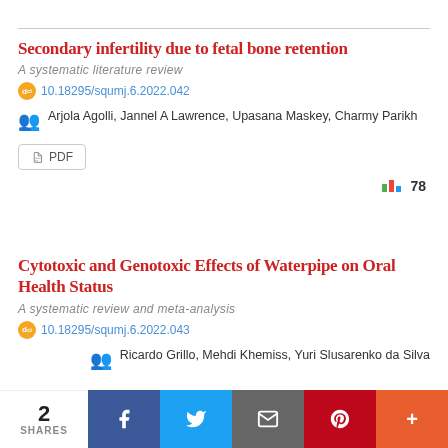Secondary infertility due to fetal bone retention
A systematic literature review
10.18295/squmj.6.2022.042
Arjola Agolli, Jannel A Lawrence, Upasana Maskey, Charmy Parikh
PDF
78
Cytotoxic and Genotoxic Effects of Waterpipe on Oral Health Status
A systematic review and meta-analysis
10.18295/squmj.6.2022.043
Ricardo Grillo, Mehdi Khemiss, Yuri Slusarenko da Silva
2 SHARES